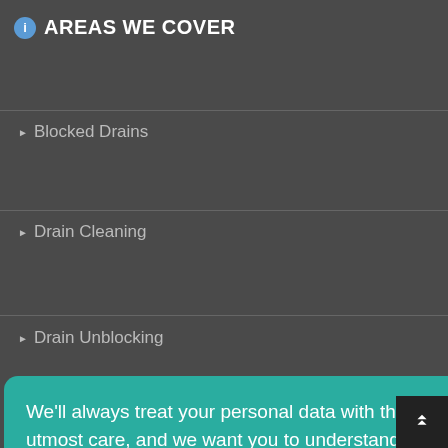AREAS WE COVER
Blocked Drains
Drain Cleaning
Drain Unblocking
We'll always treat your personal data with the utmost care, and we want you to understand what data we collect from you, why we collect it, and how we protect it. Please read our Privacy & Cookie Policy before continuing.
Read Our Privacy and Cookie Policy
Decline
Accept